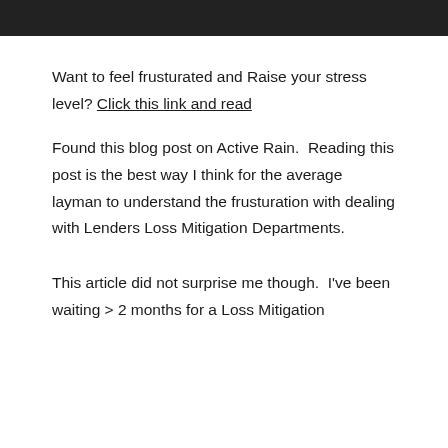Want to feel frusturated and Raise your stress level? Click this link and read
Found this blog post on Active Rain.  Reading this post is the best way I think for the average layman to understand the frusturation with dealing with Lenders Loss Mitigation Departments.
This article did not surprise me though.  I've been waiting > 2 months for a Loss Mitigation